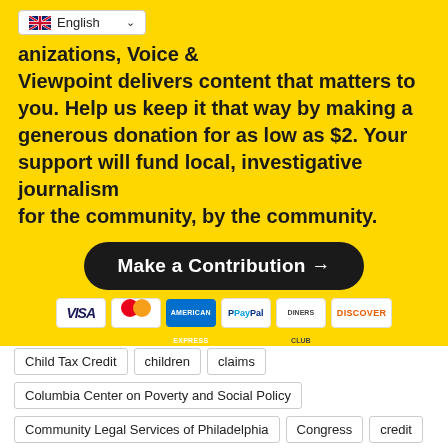[Figure (screenshot): Language selector dropdown showing UK flag and 'English' with a dropdown arrow]
anizations, Voice & Viewpoint delivers content that matters to you. Help us keep it that way by making a generous donation for as low as $2. Your support will fund local, investigative journalism for the community, by the community.
[Figure (other): Make a Contribution button with arrow and payment icons (VISA, Mastercard, Amex, PayPal, Diners, Discover)]
TAGS   "American Rescue Plan"   bank account   benefit
Child Tax Credit   children   claims
Columbia Center on Poverty and Social Policy
Community Legal Services of Philadelphia   Congress   credit
direct deposit   eligible children   FDIC